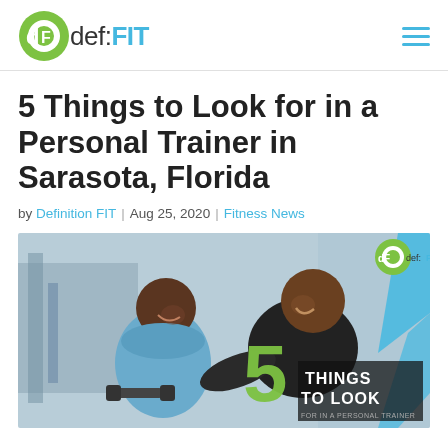def:FIT
5 Things to Look for in a Personal Trainer in Sarasota, Florida
by Definition FIT | Aug 25, 2020 | Fitness News
[Figure (photo): Two men in a gym — a personal trainer leaning over and smiling at a seated client holding dumbbells. Overlay text reads '5 THINGS TO LOOK FOR IN A PERSONAL TRAINER' with def:FIT branding logo in top right corner.]